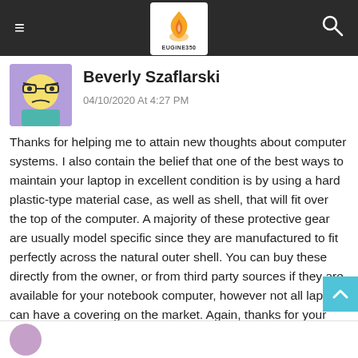EUGINE350 (logo with hamburger menu and search icon)
Beverly Szaflarski
04/10/2020 At 4:27 PM
Thanks for helping me to attain new thoughts about computer systems. I also contain the belief that one of the best ways to maintain your laptop in excellent condition is by using a hard plastic-type material case, as well as shell, that will fit over the top of the computer. A majority of these protective gear are usually model specific since they are manufactured to fit perfectly across the natural outer shell. You can buy these directly from the owner, or from third party sources if they are available for your notebook computer, however not all laptop can have a covering on the market. Again, thanks for your ideas.
Reply